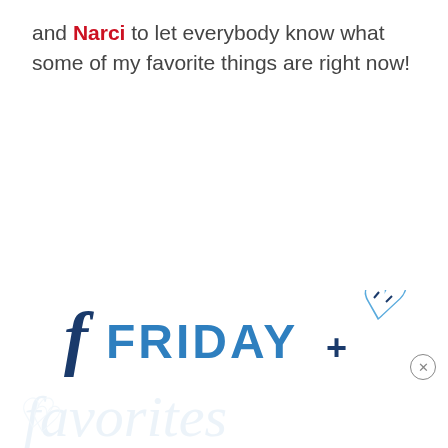and Narci to let everybody know what some of my favorite things are right now!
[Figure (illustration): Friday Favorites script logo in dark and medium blue colors, partially visible at the bottom of the page, with a light watermark of 'favorites' in cursive script below it and a close (X) button in the bottom right corner.]